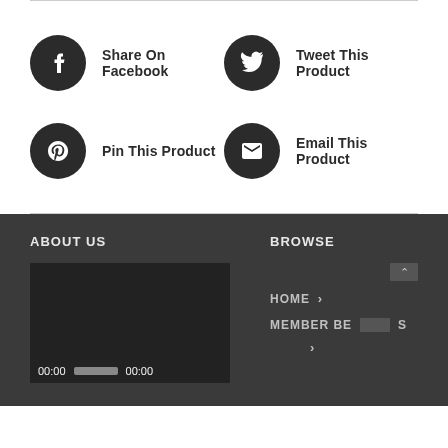Share On Facebook
Tweet This Product
Pin This Product
Email This Product
ABOUT US
BROWSE
[Figure (screenshot): Video player with time display 00:00 and 00:00]
HOME
MEMBER BENEFITS